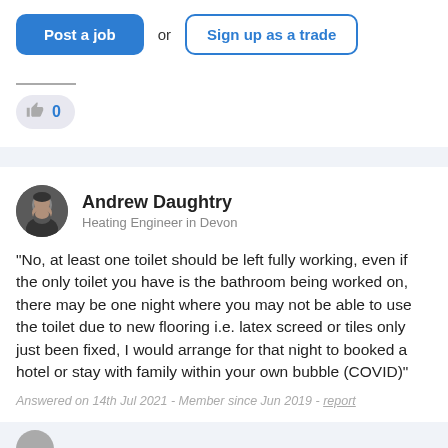[Figure (screenshot): Navigation buttons: 'Post a job' (blue filled) and 'Sign up as a trade' (blue outlined) with 'or' text between them]
[Figure (infographic): Like/upvote button showing thumbs up icon with count 0]
Andrew Daughtry
Heating Engineer in Devon
"No, at least one toilet should be left fully working, even if the only toilet you have is the bathroom being worked on, there may be one night where you may not be able to use the toilet due to new flooring i.e. latex screed or tiles only just been fixed, I would arrange for that night to booked a hotel or stay with family within your own bubble (COVID)"
Answered on 14th Jul 2021 - Member since Jun 2019 - report